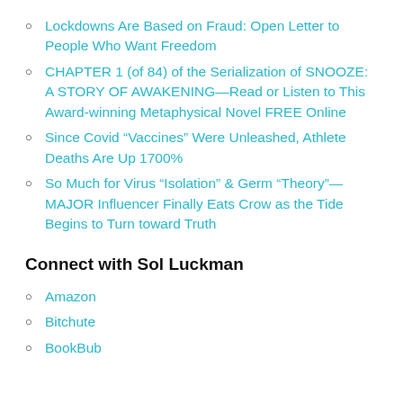Lockdowns Are Based on Fraud: Open Letter to People Who Want Freedom
CHAPTER 1 (of 84) of the Serialization of SNOOZE: A STORY OF AWAKENING—Read or Listen to This Award-winning Metaphysical Novel FREE Online
Since Covid “Vaccines” Were Unleashed, Athlete Deaths Are Up 1700%
So Much for Virus “Isolation” & Germ “Theory”—MAJOR Influencer Finally Eats Crow as the Tide Begins to Turn toward Truth
Connect with Sol Luckman
Amazon
Bitchute
BookBub